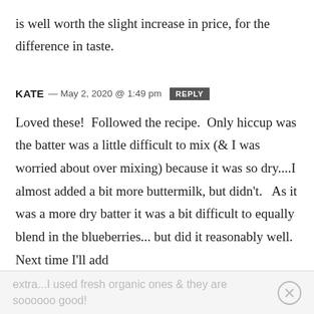is well worth the slight increase in price, for the difference in taste.
KATE — May 2, 2020 @ 1:49 pm  REPLY
Loved these!  Followed the recipe.  Only hiccup was the batter was a little difficult to mix (& I was worried about over mixing) because it was so dry....I almost added a bit more buttermilk, but didn't.   As it was a more dry batter it was a bit difficult to equally blend in the blueberries... but did it reasonably well. Next time I'll add
extra...I used fresh organic ones & they are soooooo good!